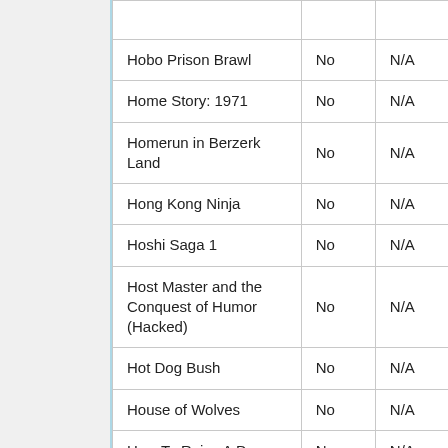| Game | Column2 | Column3 |
| --- | --- | --- |
| Hobo Prison Brawl | No | N/A |
| Home Story: 1971 | No | N/A |
| Homerun in Berzerk Land | No | N/A |
| Hong Kong Ninja | No | N/A |
| Hoshi Saga 1 | No | N/A |
| Host Master and the Conquest of Humor (Hacked) | No | N/A |
| Hot Dog Bush | No | N/A |
| House of Wolves | No | N/A |
| How To Raise A Dragon | No | N/A |
| Humbug | No | N/A |
| I Am An Insane... |  |  |